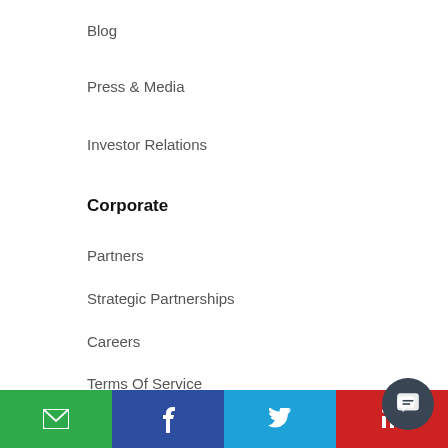Blog
Press & Media
Investor Relations
Corporate
Partners
Strategic Partnerships
Careers
Terms Of Service
Privacy Policy
[Figure (infographic): Social media icons row: Facebook, Twitter, LinkedIn, Instagram, YouTube — each in a dark circle]
[Figure (infographic): Footer bar with four colored segments: green (email icon), dark blue (Facebook f icon), sky blue (Twitter bird icon), red (LinkedIn in icon), and a dark chat bubble button on the right]